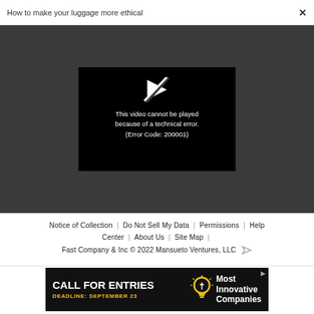How to make your luggage more ethical  ×
[Figure (screenshot): Video player error screen on dark grey background. Black video player area shows a broken play button icon (white arrow with slash) and text: 'This video cannot be played because of a technical error. (Error Code: 200001)']
Notice of Collection  |  Do Not Sell My Data  |  Permissions  |  Help Center  |  About Us  |  Site Map  |  Fast Company & Inc © 2022 Mansueto Ventures, LLC
[Figure (screenshot): Advertisement banner: black background with white bold text 'CALL FOR ENTRIES', yellow text 'DEADLINE: SEPTEMBER 23', light bulb icon, and white bold text 'Most Innovative Companies']